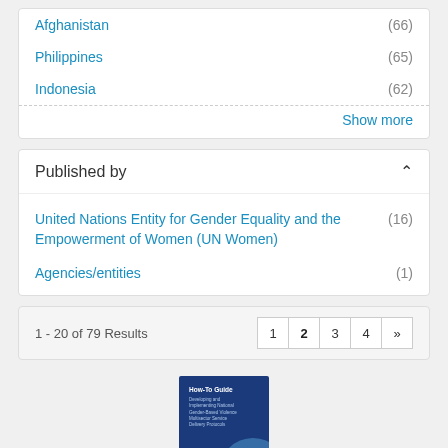Afghanistan (66)
Philippines (65)
Indonesia (62)
Show more
Published by
United Nations Entity for Gender Equality and the Empowerment of Women (UN Women) (16)
Agencies/entities (1)
1 - 20 of 79 Results
[Figure (screenshot): Pagination buttons: 1, 2, 3, 4, >>]
[Figure (illustration): Book cover thumbnail: How-To Guide with blue background and circle design]